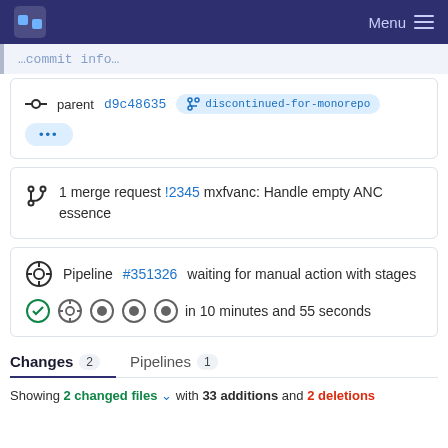Menu
parent d9c48635 discontinued-for-monorepo
...
1 merge request !2345 mxfvanc: Handle empty ANC essence
Pipeline #351326 waiting for manual action with stages
in 10 minutes and 55 seconds
Changes 2   Pipelines 1
Showing 2 changed files with 33 additions and 2 deletions